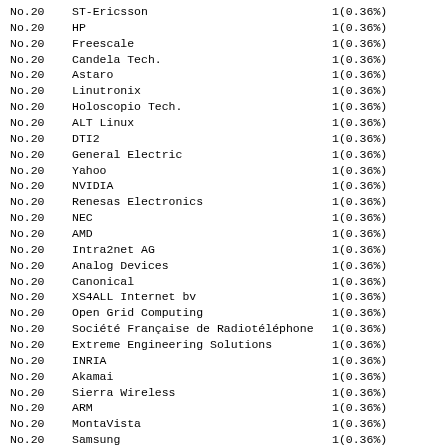| Rank | Name | Count(%) |
| --- | --- | --- |
| No.20 | ST-Ericsson | 1(0.36%) |
| No.20 | HP | 1(0.36%) |
| No.20 | Freescale | 1(0.36%) |
| No.20 | Candela Tech. | 1(0.36%) |
| No.20 | Astaro | 1(0.36%) |
| No.20 | Linutronix | 1(0.36%) |
| No.20 | Holoscopio Tech. | 1(0.36%) |
| No.20 | ALT Linux | 1(0.36%) |
| No.20 | DTI2 | 1(0.36%) |
| No.20 | General Electric | 1(0.36%) |
| No.20 | Yahoo | 1(0.36%) |
| No.20 | NVIDIA | 1(0.36%) |
| No.20 | Renesas Electronics | 1(0.36%) |
| No.20 | NEC | 1(0.36%) |
| No.20 | AMD | 1(0.36%) |
| No.20 | Intra2net AG | 1(0.36%) |
| No.20 | Analog Devices | 1(0.36%) |
| No.20 | Canonical | 1(0.36%) |
| No.20 | XS4ALL Internet bv | 1(0.36%) |
| No.20 | Open Grid Computing | 1(0.36%) |
| No.20 | Société Française de Radiotéléphone | 1(0.36%) |
| No.20 | Extreme Engineering Solutions | 1(0.36%) |
| No.20 | INRIA | 1(0.36%) |
| No.20 | Akamai | 1(0.36%) |
| No.20 | Sierra Wireless | 1(0.36%) |
| No.20 | ARM | 1(0.36%) |
| No.20 | MontaVista | 1(0.36%) |
| No.20 | Samsung | 1(0.36%) |
| No.20 | Bitinfotech | 1(0.36%) |